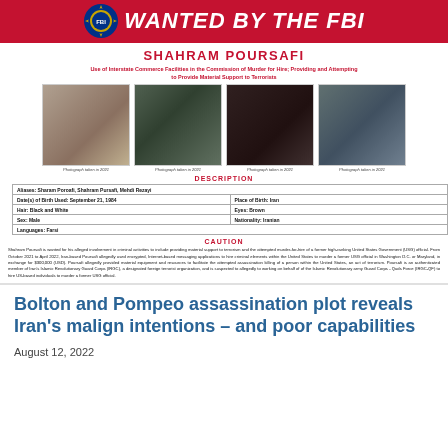WANTED BY THE FBI
SHAHRAM POURSAFI
Use of Interstate Commerce Facilities in the Commission of Murder for Hire; Providing and Attempting to Provide Material Support to Terrorists
[Figure (photo): Four photographs of Shahram Poursafi taken in 2021 and 2023]
DESCRIPTION
| Field | Value |
| --- | --- |
| Aliases: Sharam Poroafi, Shahram Pursafi, Mehdi Rezayi |  |
| Date(s) of Birth Used: September 21, 1984 | Place of Birth: Iran |
| Hair: Black and White | Eyes: Brown |
| Sex: Male | Nationality: Iranian |
| Languages: Farsi |  |
CAUTION
Shahram Poursafi is wanted for his alleged involvement in criminal activities to include providing material support to terrorism and the attempted murder-for-hire of a former high-ranking United States Government (USG) official. From October 2021 to April 2022, Iran-based Poursafi allegedly used encrypted, Internet-based messaging applications to hire criminal elements within the United States to murder a former USG official in Washington D.C. or Maryland, in exchange for $300,000 (USD). Poursafi allegedly provided material, equipment and resources to facilitate the attempted assassination killing of a person within the United States, an act of terrorism. Poursafi is an authenticated member of Iran's Islamic Revolutionary Guard Corps (IRGC), a designated foreign terrorist organization, and is suspected to allegedly to working on behalf of of the Islamic Revolutionary army Guard Corps - Quds Force (IRGC-QF) to hire US-based individuals to murder a former USG official.
Bolton and Pompeo assassination plot reveals Iran's malign intentions – and poor capabilities
August 12, 2022